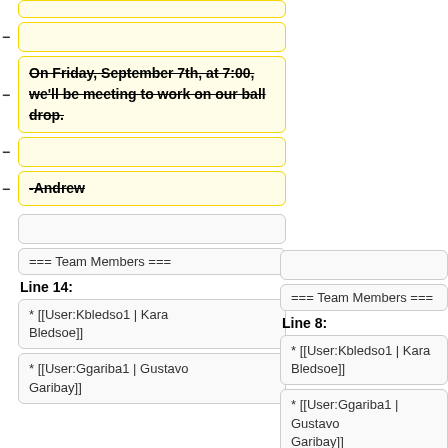(empty yellow box top)
(empty yellow box)
On Friday, September 7th, at 7:00, we'll be meeting to work on our ball drop.
(empty yellow box)
-Andrew
(empty gray box left)
(empty gray box right)
=== Team Members ===
=== Team Members ===
Line 14:
Line 8:
* [[User:Kbledso1 | Kara Bledsoe]]
* [[User:Kbledso1 | Kara Bledsoe]]
* [[User:Ggariba1 | Gustavo Garibay]]
* [[User:Ggariba1 | Gustavo Garibay]]